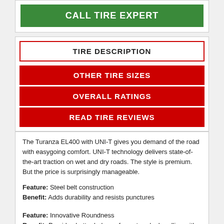CALL TIRE EXPERT
TIRE DESCRIPTION
OTHER TIRE SIZES
OVERALL RATINGS
READ TIRE REVIEWS
The Turanza EL400 with UNI-T gives you demand of the road with easygoing comfort. UNI-T technology delivers state-of-the-art traction on wet and dry roads. The style is premium. But the price is surprisingly manageable.
Feature: Steel belt construction
Benefit: Adds durability and resists punctures
Feature: Innovative Roundness
Benefit: Provides better balance for wet or dry handling with rounder overall tire shape